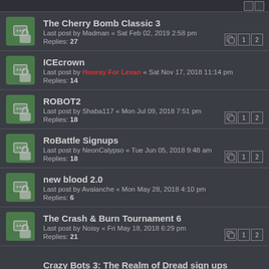The Cherry Bomb Classic 3 — Last post by Madman « Sat Feb 02, 2019 2:58 pm — Replies: 27
ICEcrown — Last post by Hooray For Lexan « Sat Nov 17, 2018 11:14 pm — Replies: 14
ROBOT2 — Last post by Shaba117 « Mon Jul 09, 2018 7:51 pm — Replies: 18
RoBattle Signups — Last post by NeonCalypso « Tue Jun 05, 2018 9:48 am — Replies: 18
new blood 2.0 — Last post by Avalanche « Mon May 28, 2018 4:10 pm — Replies: 6
The Crash & Burn Tournament 6 — Last post by Noisy « Fri May 18, 2018 6:29 pm — Replies: 21
Crazy Bots 3: The Realm of Dread sign ups